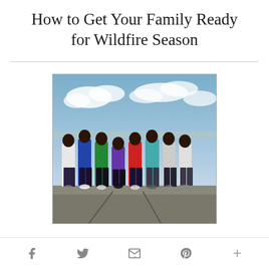How to Get Your Family Ready for Wildfire Season
[Figure (photo): Group photo of eight people standing together outdoors against a partly cloudy sky backdrop. They are wearing colorful shirts (white, blue, green, purple, red, teal, white). The photo appears to be a family portrait.]
Social sharing icons: Facebook, Twitter, Email, Pinterest, More